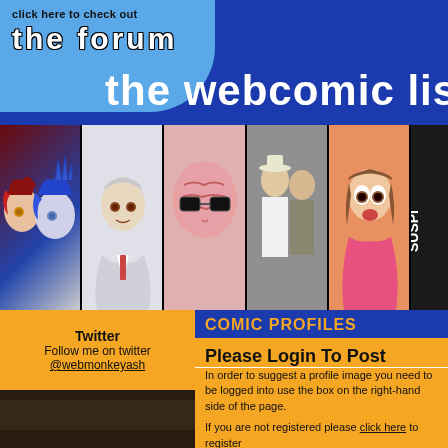click here to check out the forum
the webcomic lis
[Figure (illustration): Webcomic character banner strip showing anime/cartoon characters in panels]
Twitter
Follow me on twitter
@webmonkeyash
COMIC PROFILES
Please Login To Post
In order to suggest a profile image you need to be logged into use the box on the right-hand side of the page.

If you are not registered please click here to register